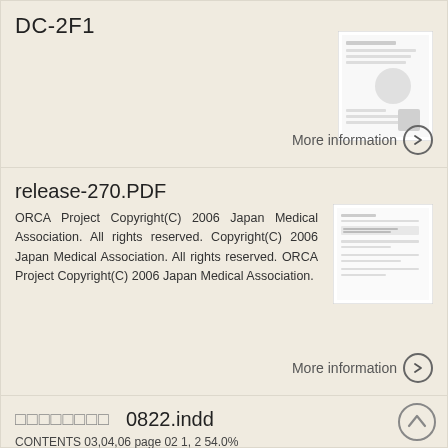DC-2F1
More information →
release-270.PDF
ORCA Project Copyright(C) 2006 Japan Medical Association. All rights reserved. Copyright(C) 2006 Japan Medical Association. All rights reserved. ORCA Project Copyright(C) 2006 Japan Medical Association.
More information →
□□□□□□□□   0822.indd
CONTENTS 03,04,06 page 02 1, 2 54.0%